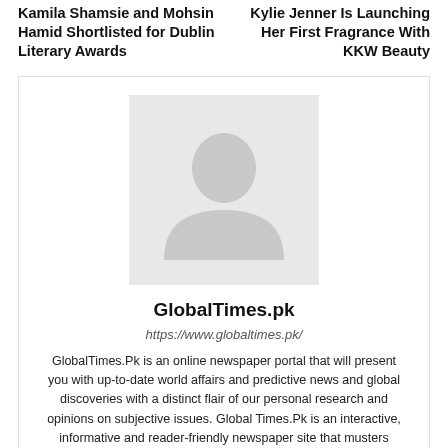Kamila Shamsie and Mohsin Hamid Shortlisted for Dublin Literary Awards
Kylie Jenner Is Launching Her First Fragrance With KKW Beauty
[Figure (illustration): Grey placeholder avatar silhouette image]
GlobalTimes.pk
https://www.globaltimes.pk/
GlobalTimes.Pk is an online newspaper portal that will present you with up-to-date world affairs and predictive news and global discoveries with a distinct flair of our personal research and opinions on subjective issues. Global Times.Pk is an interactive, informative and reader-friendly newspaper site that musters authentic details from our mass news network and channels.
[Figure (illustration): Social media icons: Facebook, Instagram, Twitter]